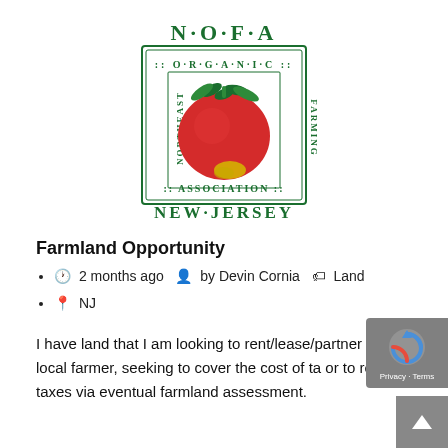[Figure (logo): NOFA New Jersey logo — Northeast Organic Farming Association of New Jersey, featuring a red tomato with green leaves inside a bordered square, with 'N·O·F·A' above and 'NEW·JERSEY' below in green text.]
Farmland Opportunity
2 months ago  by Devin Cornia  Land
NJ
I have land that I am looking to rent/lease/partner with a local farmer, seeking to cover the cost of ta or to reduce taxes via eventual farmland assessment.